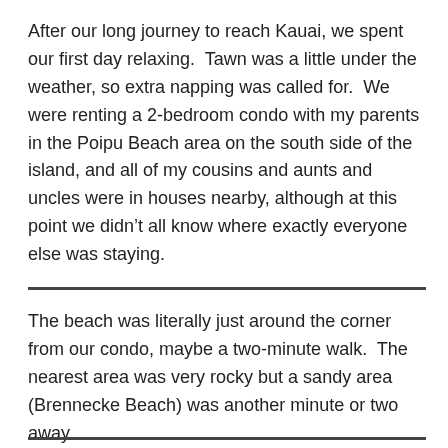After our long journey to reach Kauai, we spent our first day relaxing.  Tawn was a little under the weather, so extra napping was called for.  We were renting a 2-bedroom condo with my parents in the Poipu Beach area on the south side of the island, and all of my cousins and aunts and uncles were in houses nearby, although at this point we didn’t all know where exactly everyone else was staying.
The beach was literally just around the corner from our condo, maybe a two-minute walk.  The nearest area was very rocky but a sandy area (Brennecke Beach) was another minute or two away.